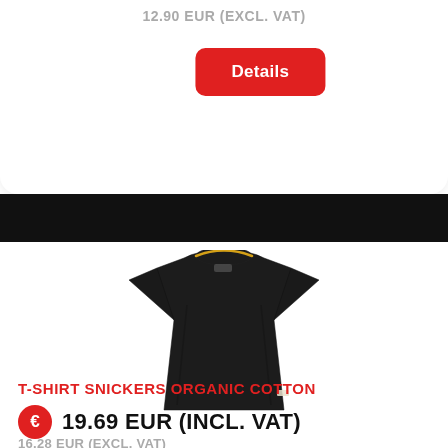12.90 EUR (EXCL. VAT)
Details
[Figure (photo): Black T-shirt with yellow collar detail, Snickers brand, displayed flat on white background]
T-SHIRT SNICKERS ORGANIC COTTON
€ 19.69 EUR (INCL. VAT)
16.28 EUR (EXCL. VAT)